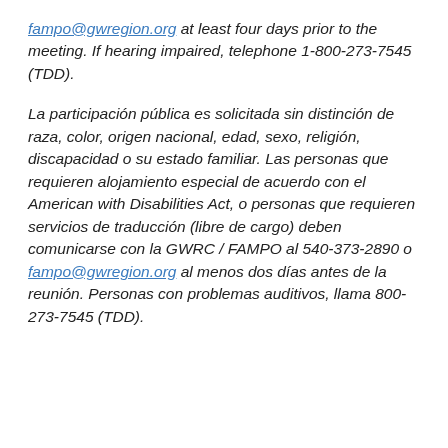fampo@gwregion.org at least four days prior to the meeting. If hearing impaired, telephone 1-800-273-7545 (TDD).
La participación pública es solicitada sin distinción de raza, color, origen nacional, edad, sexo, religión, discapacidad o su estado familiar. Las personas que requieren alojamiento especial de acuerdo con el American with Disabilities Act, o personas que requieren servicios de traducción (libre de cargo) deben comunicarse con la GWRC / FAMPO al 540-373-2890 o fampo@gwregion.org al menos dos días antes de la reunión. Personas con problemas auditivos, llama 800-273-7545 (TDD).